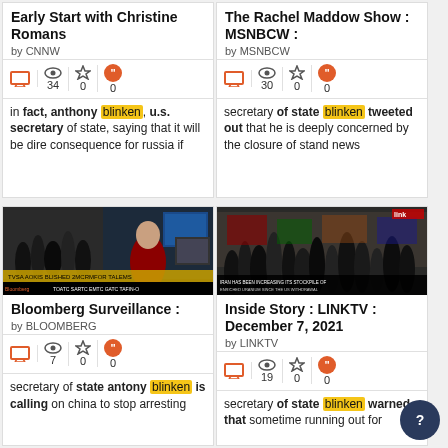Early Start with Christine Romans by CNNW
34 | 0 | 0
in fact, anthony blinken, u.s. secretary of state, saying that it will be dire consequence for russia if
The Rachel Maddow Show : MSNBCW : by MSNBCW
30 | 0 | 0
secretary of state blinken tweeted out that he is deeply concerned by the closure of stand news
[Figure (screenshot): Bloomberg TV screenshot showing news anchor in studio with crowd scene and Bloomberg ticker]
Bloomberg Surveillance : by BLOOMBERG
7 | 0 | 0
secretary of state antony blinken is calling on china to stop arresting
[Figure (screenshot): LINKTV screenshot showing crowded street scene with caption about Iran uranium stockpile]
Inside Story : LINKTV : December 7, 2021 by LINKTV
19 | 0 | 0
secretary of state blinken warned that sometime running out for